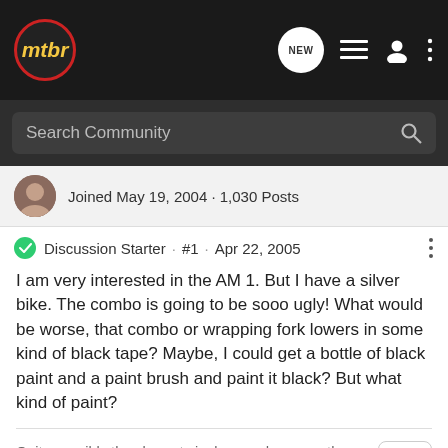[Figure (logo): mtbr logo in yellow italic text inside a dark circle with red border, on a black navigation bar with NEW bubble, list icon, user icon, and options icon]
Search Community
Joined May 19, 2004 · 1,030 Posts
Discussion Starter · #1 · Apr 22, 2005
I am very interested in the AM 1. But I have a silver bike. The combo is going to be sooo ugly! What would be worse, that combo or wrapping fork lowers in some kind of black tape? Maybe, I could get a bottle of black paint and a paint brush and paint it black? But what kind of paint?
Quite possibly the slowest single speeder on earth.
Now skating 'cause its cheaper.